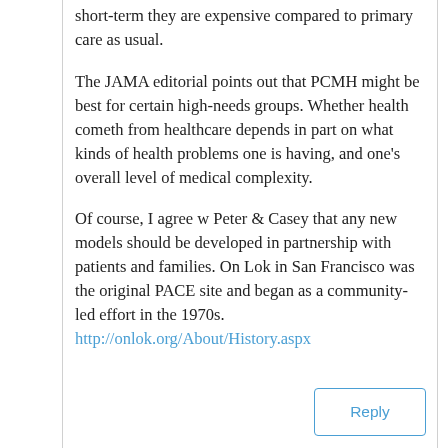short-term they are expensive compared to primary care as usual.
The JAMA editorial points out that PCMH might be best for certain high-needs groups. Whether health cometh from healthcare depends in part on what kinds of health problems one is having, and one’s overall level of medical complexity.
Of course, I agree w Peter & Casey that any new models should be developed in partnership with patients and families. On Lok in San Francisco was the original PACE site and began as a community-led effort in the 1970s.
http://onlok.org/About/History.aspx
Reply